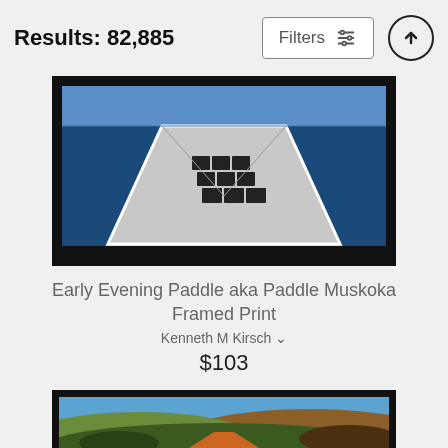Results: 82,885
Filters
[Figure (photo): Aerial view of a ship deck extending over blue ocean water, with dark cargo arranged on the deck, framed print]
Early Evening Paddle aka Paddle Muskoka Framed Print
Kenneth M Kirsch
$103
[Figure (photo): Landscape painting with rolling hills, orange dirt road, and blue sky, framed print (partially visible)]